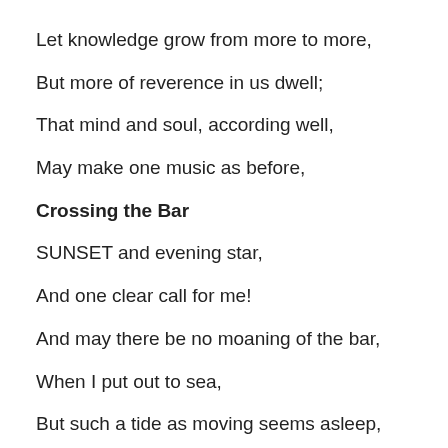Let knowledge grow from more to more,
But more of reverence in us dwell;
That mind and soul, according well,
May make one music as before,
Crossing the Bar
SUNSET and evening star,
And one clear call for me!
And may there be no moaning of the bar,
When I put out to sea,
But such a tide as moving seems asleep,